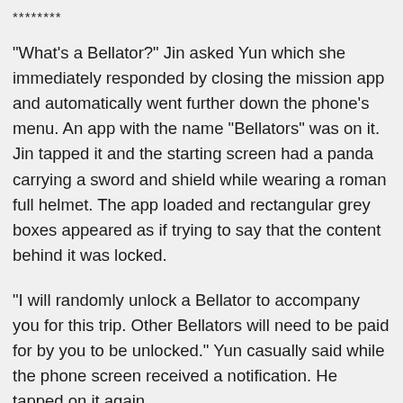********
"What's a Bellator?" Jin asked Yun which she immediately responded by closing the mission app and automatically went further down the phone's menu. An app with the name "Bellators" was on it. Jin tapped it and the starting screen had a panda carrying a sword and shield while wearing a roman full helmet. The app loaded and rectangular grey boxes appeared as if trying to say that the content behind it was locked.
"I will randomly unlock a Bellator to accompany you for this trip. Other Bellators will need to be paid for by you to be unlocked." Yun casually said while the phone screen received a notification. He tapped on it again